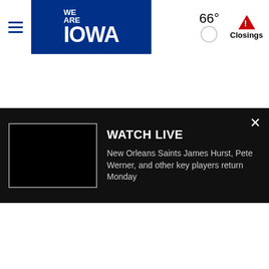[Figure (screenshot): We Are Iowa news website header with hamburger menu, blue logo, temperature 66°, weather icon, and Closings alert]
[Figure (screenshot): Watch Live banner with black background, video thumbnail placeholder, title WATCH LIVE, description about New Orleans Saints James Hurst, Pete Werner, and other key players return Monday, and X close button]
[Figure (other): Diagonal hatched advertisement zone placeholder]
[Figure (screenshot): Video thumbnail showing person holding smartphone, VERIFY badge top left, green checkmark box top right, play button in center, headline bar at bottom reading Scammers sending a]